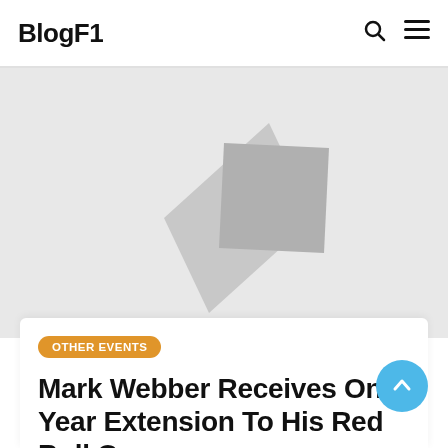BlogF1
[Figure (illustration): Gray placeholder image with a stylized heart/diamond shape made of two overlapping quadrilaterals in light gray tones, on a light gray background.]
OTHER EVENTS
Mark Webber Receives One-Year Extension To His Red Bull C...